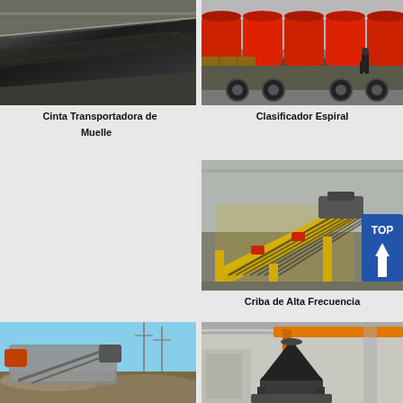[Figure (photo): Close-up of a conveyor belt in a factory/warehouse setting, motion blur effect showing fast-moving dark belt material]
Cinta Transportadora de Muelle
[Figure (photo): Large red spiral classifier cylinders loaded on a flatbed truck in an industrial yard, with a worker standing nearby]
Clasificador Espiral
[Figure (photo): Yellow high-frequency screen/vibrating sieve machine in an industrial facility, with a blue TOP arrow label in the corner]
Criba de Alta Frecuencia
[Figure (photo): Outdoor industrial machinery, appears to be a screen or classifier machine on a construction site with blue sky]
[Figure (photo): Large black cone crusher suspended by an orange crane in an industrial building]